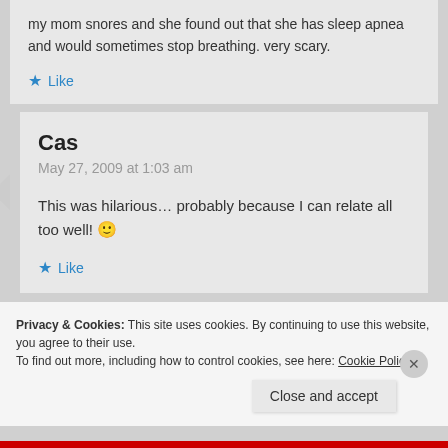my mom snores and she found out that she has sleep apnea and would sometimes stop breathing. very scary.
Like
Cas
May 27, 2009 at 1:03 am
This was hilarious… probably because I can relate all too well! 🙂
Like
Privacy & Cookies: This site uses cookies. By continuing to use this website, you agree to their use.
To find out more, including how to control cookies, see here: Cookie Policy
Close and accept